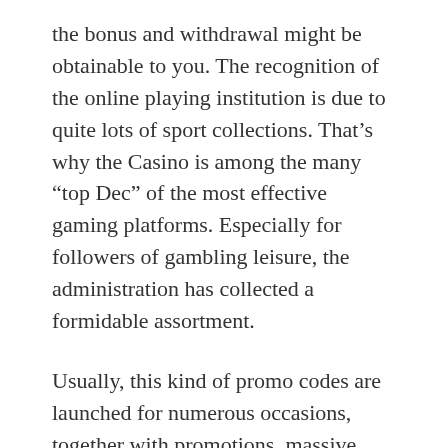the bonus and withdrawal might be obtainable to you. The recognition of the online playing institution is due to quite lots of sport collections. That’s why the Casino is among the many “top Dec” of the most effective gaming platforms. Especially for followers of gambling leisure, the administration has collected a formidable assortment.
Usually, this kind of promo codes are launched for numerous occasions, together with promotions, massive sports activities occasions. Pin-up Casino, to make things extra fascinating for their players, has even